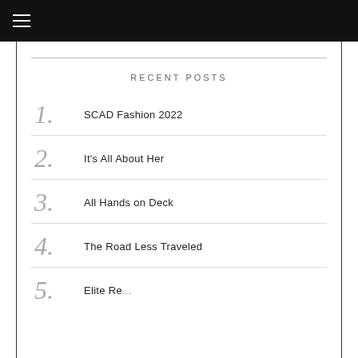≡
RECENT POSTS
1. SCAD Fashion 2022
2. It's All About Her
3. All Hands on Deck
4. The Road Less Traveled
5. Elite...